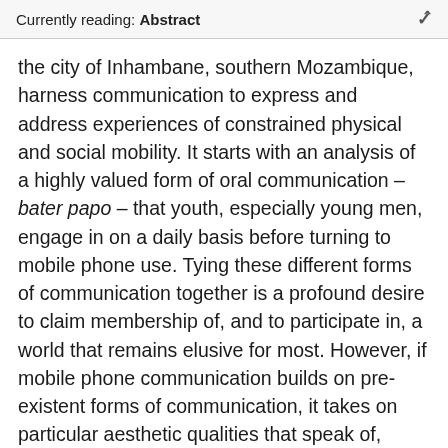Currently reading: Abstract
the city of Inhambane, southern Mozambique, harness communication to express and address experiences of constrained physical and social mobility. It starts with an analysis of a highly valued form of oral communication – bater papo – that youth, especially young men, engage in on a daily basis before turning to mobile phone use. Tying these different forms of communication together is a profound desire to claim membership of, and to participate in, a world that remains elusive for most. However, if mobile phone communication builds on pre-existent forms of communication, it takes on particular aesthetic qualities that speak of, rather than resolve, exclusion. The article argues that, while helping bridge distances in significant ways, mobile phone communication nonetheless, and somewhat ironically, also betrays